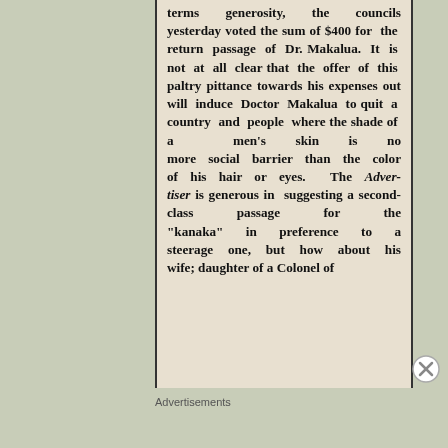terms generosity, the councils yesterday voted the sum of $400 for the return passage of Dr. Makalua. It is not at all clear that the offer of this paltry pittance towards his expenses out will induce Doctor Makalua to quit a country and people where the shade of a men's skin is no more social barrier than the color of his hair or eyes. The Advertiser is generous in suggesting a second-class passage for the "kanaka" in preference to a steerage one, but how about his wife; daughter of a Colonel of
Advertisements